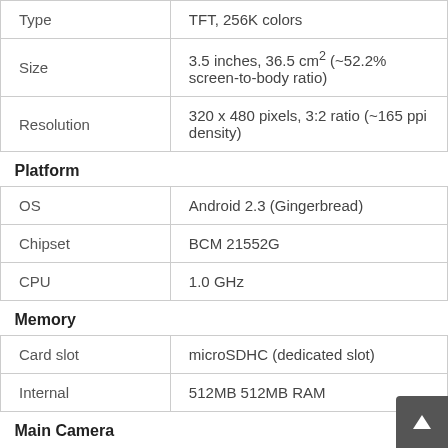|  |  |
| --- | --- |
| Type | TFT, 256K colors |
| Size | 3.5 inches, 36.5 cm² (~52.2% screen-to-body ratio) |
| Resolution | 320 x 480 pixels, 3:2 ratio (~165 ppi density) |
| Platform |  |
| OS | Android 2.3 (Gingerbread) |
| Chipset | BCM 21552G |
| CPU | 1.0 GHz |
| Memory |  |
| Card slot | microSDHC (dedicated slot) |
| Internal | 512MB 512MB RAM |
| Main Camera |  |